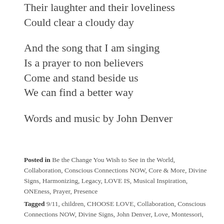Their laughter and their loveliness
Could clear a cloudy day
And the song that I am singing
Is a prayer to non believers
Come and stand beside us
We can find a better way
Words and music by John Denver
Posted in Be the Change You Wish to See in the World, Collaboration, Conscious Connections NOW, Core & More, Divine Signs, Harmonizing, Legacy, LOVE IS, Musical Inspiration, ONEness, Prayer, Presence
Tagged 9/11, children, CHOOSE LOVE, Collaboration, Conscious Connections NOW, Divine Signs, John Denver, Love, Montessori,